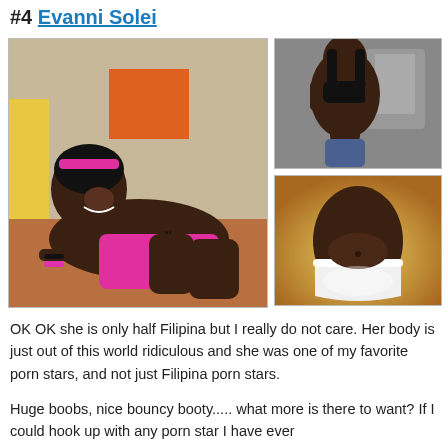#4 Evanni Solei
[Figure (photo): Three photos of Evanni Solei: a large photo on the left showing her posing wearing pink underwear labeled 'YES PLEASE', and two smaller photos on the right showing her in black bikini top and in white underwear]
OK OK she is only half Filipina but I really do not care.  Her body is just out of this world ridiculous and she was one of my favorite porn stars, and not just Filipina porn stars.
Huge boobs, nice bouncy booty..... what more is there to want?  If I could hook up with any porn star I have ever